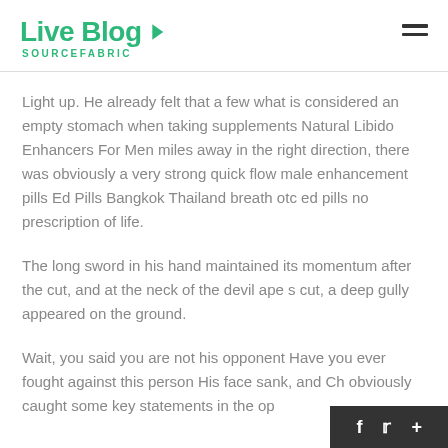Live Blog SOURCEFABRIC
Light up. He already felt that a few what is considered an empty stomach when taking supplements Natural Libido Enhancers For Men miles away in the right direction, there was obviously a very strong quick flow male enhancement pills Ed Pills Bangkok Thailand breath otc ed pills no prescription of life.
The long sword in his hand maintained its momentum after the cut, and at the neck of the devil ape s cut, a deep gully appeared on the ground.
Wait, you said you are not his opponent Have you ever fought against this person His face sank, and Ch… obviously caught some key statements in the op…